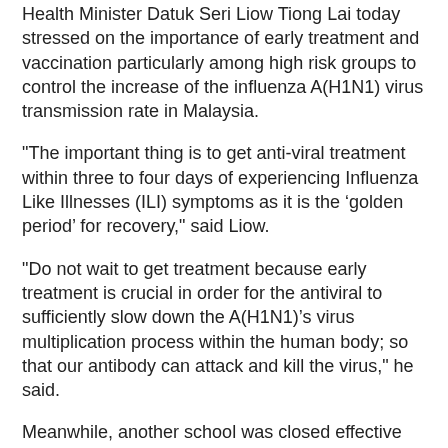Health Minister Datuk Seri Liow Tiong Lai today stressed on the importance of early treatment and vaccination particularly among high risk groups to control the increase of the influenza A(H1N1) virus transmission rate in Malaysia.
"The important thing is to get anti-viral treatment within three to four days of experiencing Influenza Like Illnesses (ILI) symptoms as it is the ‘golden period’ for recovery," said Liow.
"Do not wait to get treatment because early treatment is crucial in order for the antiviral to sufficiently slow down the A(H1N1)’s virus multiplication process within the human body; so that our antibody can attack and kill the virus," he said.
Meanwhile, another school was closed effective today after it recorded five confirmed cases of influenza A(H1N1) in two weeks.
A representative of a private school in Kota Damansara here told theSun that Sekolah Sri KDU had been issued a notification on Friday to close both its primary and secondary